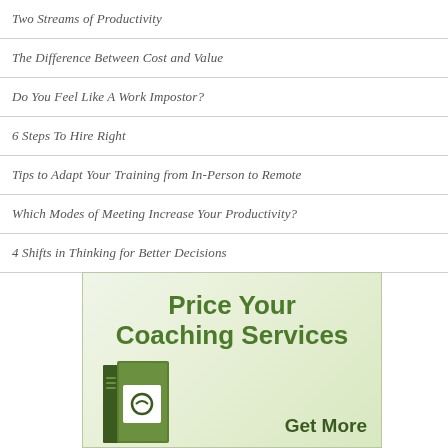Two Streams of Productivity
The Difference Between Cost and Value
Do You Feel Like A Work Impostor?
6 Steps To Hire Right
Tips to Adapt Your Training from In-Person to Remote
Which Modes of Meeting Increase Your Productivity?
4 Shifts in Thinking for Better Decisions
[Figure (illustration): Advertisement box with green gradient background showing 'Price Your Coaching Services' text and a book graphic with 'Get More' tagline]